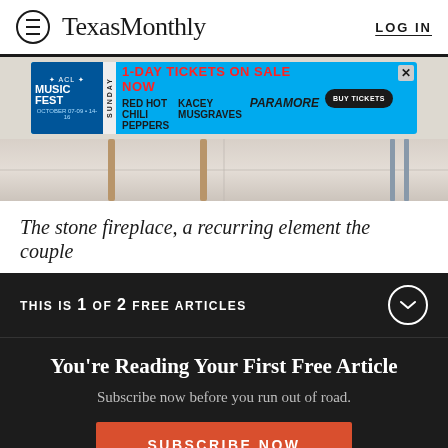Texas Monthly — LOG IN
[Figure (other): ACL Music Fest advertisement banner. 1-Day Tickets on Sale Now. Sunday. Red Hot Chili Peppers, Kacey Musgraves, Paramore. Buy Tickets.]
[Figure (photo): Partial interior photo showing furniture legs on a light stone tile floor.]
The stone fireplace, a recurring element the couple
THIS IS 1 OF 2 FREE ARTICLES
You're Reading Your First Free Article
Subscribe now before you run out of road.
SUBSCRIBE NOW
Already a subscriber? Log in